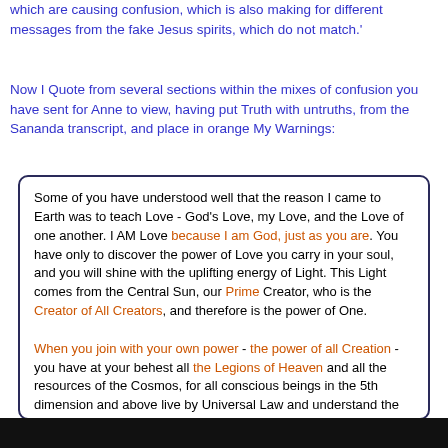which are causing confusion, which is also making for different messages from the fake Jesus spirits, which do not match.'
Now I Quote from several sections within the mixes of confusion you have sent for Anne to view, having put Truth with untruths, from the Sananda transcript, and place in orange My Warnings:
Some of you have understood well that the reason I came to Earth was to teach Love - God's Love, my Love, and the Love of one another. I AM Love because I am God, just as you are. You have only to discover the power of Love you carry in your soul, and you will shine with the uplifting energy of Light. This Light comes from the Central Sun, our Prime Creator, who is the Creator of All Creators, and therefore is the power of One.

When you join with your own power - the power of all Creation - you have at your behest all the Legions of Heaven and all the resources of the Cosmos, for all conscious beings in the 5th dimension and above live by Universal Law and understand the meaning of being One with you, even when you do not understand it yourself. They are here to serve you, of their own volition, and they revel in the joy of helping you to raise yourselves up to the Light.